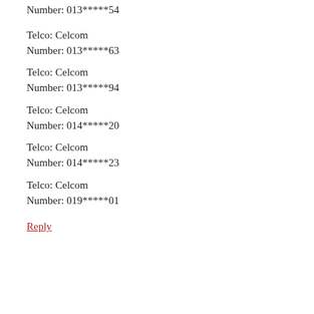Number: 013*****54
Telco: Celcom
Number: 013*****63
Telco: Celcom
Number: 013*****94
Telco: Celcom
Number: 014*****20
Telco: Celcom
Number: 014*****23
Telco: Celcom
Number: 019*****01
Reply